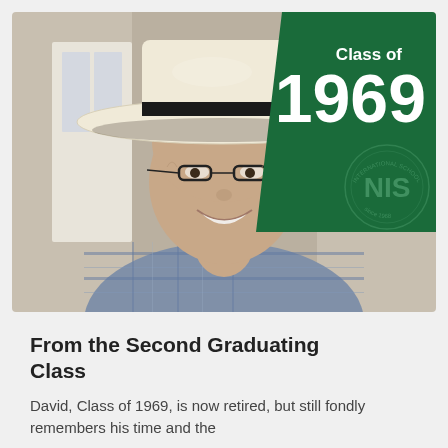[Figure (photo): Smiling older man wearing a wide-brim cream cowboy hat and glasses, in a plaid shirt. Upper-right corner has a dark green overlay with 'Class of 1969' text in white and the NIS (International School) circular logo watermark.]
From the Second Graduating Class
David, Class of 1969, is now retired, but still fondly remembers his time and the